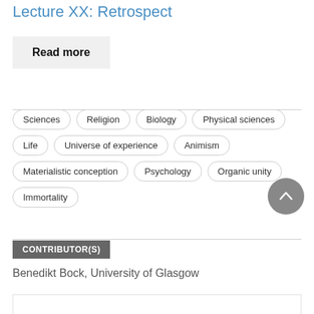Lecture XX: Retrospect
Read more
Sciences
Religion
Biology
Physical sciences
Life
Universe of experience
Animism
Materialistic conception
Psychology
Organic unity
Immortality
CONTRIBUTOR(S)
Benedikt Bock, University of Glasgow